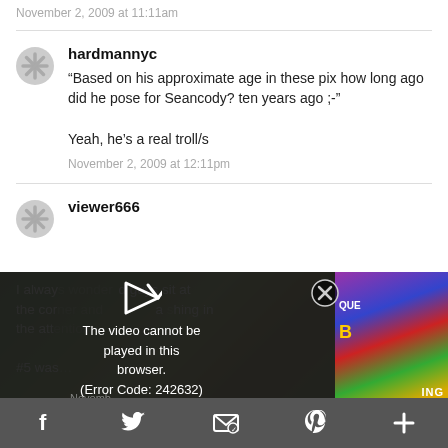November 2, 2009 at 11:11am
hardmannyc
“Based on his approximate age in these pix how long ago did he pose for Seancody? ten years ago ;-”

Yeah, he’s a real troll/s

November 2, 2009 at 12:11pm
viewer666
[Figure (screenshot): Video player error overlay showing 'The video cannot be played in this browser. (Error Code: 242632)' with background images and a close button]
f  Twitter  email  Pinterest  +